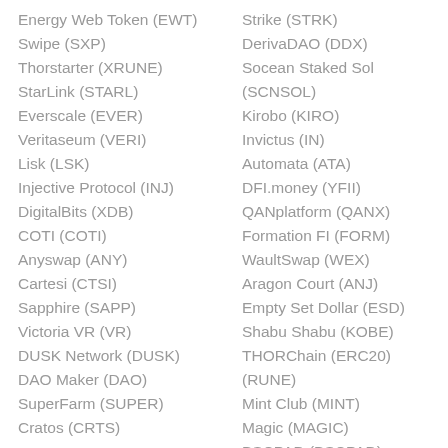Energy Web Token (EWT)
Swipe (SXP)
Thorstarter (XRUNE)
StarLink (STARL)
Everscale (EVER)
Veritaseum (VERI)
Lisk (LSK)
Injective Protocol (INJ)
DigitalBits (XDB)
COTI (COTI)
Anyswap (ANY)
Cartesi (CTSI)
Sapphire (SAPP)
Victoria VR (VR)
DUSK Network (DUSK)
DAO Maker (DAO)
SuperFarm (SUPER)
Cratos (CRTS)
Strike (STRK)
DerivaDAO (DDX)
Socean Staked Sol (SCNSOL)
Kirobo (KIRO)
Invictus (IN)
Automata (ATA)
DFI.money (YFII)
QANplatform (QANX)
Formation FI (FORM)
WaultSwap (WEX)
Aragon Court (ANJ)
Empty Set Dollar (ESD)
Shabu Shabu (KOBE)
THORChain (ERC20) (RUNE)
Mint Club (MINT)
Magic (MAGIC)
BSCPAD (BSCPAD)